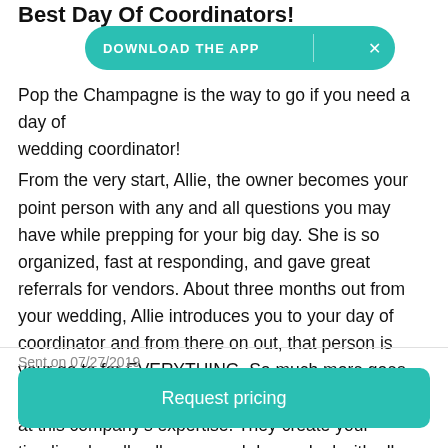Best Day Of Coordinators!
[Figure (screenshot): Download the App banner overlay — a teal pill-shaped button with text 'DOWNLOAD THE APP' and an X close button]
Pop the Champagne is the way to go if you need a day of wedding coordinator! From the very start, Allie, the owner becomes your point person with any and all questions you may have while prepping for your big day. She is so organized, fast at responding, and gave great referrals for vendors. About three months out from your wedding, Allie introduces you to your day of coordinator and from there on out, that person is your go to for EVERYTHING. So much more goes into this than just the day of. I am absolutely amazed at this company's expertise. They create your timeline, handle all props and decor, deal with all aspects of… Read more
Sent on 07/27/2019
Request pricing